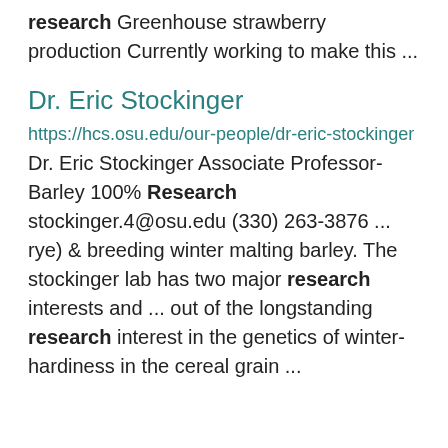research Greenhouse strawberry production Currently working to make this ...
Dr. Eric Stockinger
https://hcs.osu.edu/our-people/dr-eric-stockinger Dr. Eric Stockinger Associate Professor-Barley 100% Research stockinger.4@osu.edu (330) 263-3876 ... rye) & breeding winter malting barley. The stockinger lab has two major research interests and ... out of the longstanding research interest in the genetics of winter-hardiness in the cereal grain ...